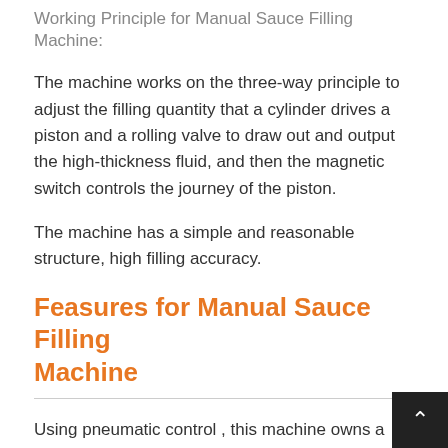Working Principle for Manual Sauce Filling Machine:
The machine works on the three-way principle to adjust the filling quantity that a cylinder drives a piston and a rolling valve to draw out and output the high-thickness fluid, and then the magnetic switch controls the journey of the piston.
The machine has a simple and reasonable structure, high filling accuracy.
Feasures for Manual Sauce Filling Machine
Using pneumatic control , this machine owns a wide application scope, simple measuring regulation, good shape and convenient cleaning, also suitable for the